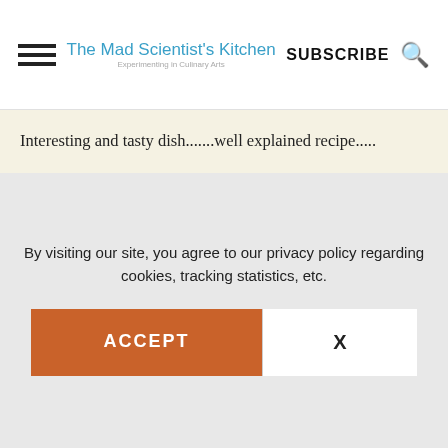The Mad Scientist's Kitchen | SUBSCRIBE
Interesting and tasty dish.......well explained recipe.....
Reply
ArchanaPotdar says
April 09, 2018 at 8:15 pm
By visiting our site, you agree to our privacy policy regarding cookies, tracking statistics, etc.